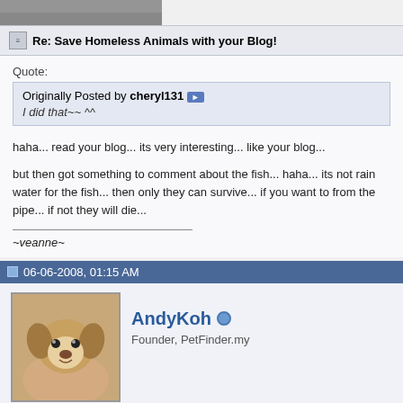[Figure (photo): Top strip showing partial animal/pet photo cropped]
Re: Save Homeless Animals with your Blog!
Quote:
Originally Posted by cheryl131
I did that~~ ^^
haha... read your blog... its very interesting... like your blog...

but then got something to comment about the fish... haha... its not rain water for the fish... then only they can survive... if you want to from the pipe... if not they will die...
~veanne~
06-06-2008, 01:15 AM
[Figure (photo): Profile photo of a brown and white dog (puppy/beagle type)]
AndyKoh
Founder, PetFinder.my
Re: Save Homeless Animals with your Blog!